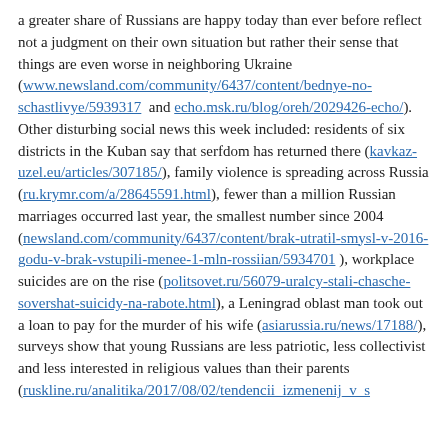a greater share of Russians are happy today than ever before reflect not a judgment on their own situation but rather their sense that things are even worse in neighboring Ukraine (www.newsland.com/community/6437/content/bednye-no-schastlivye/5939317 and echo.msk.ru/blog/oreh/2029426-echo/). Other disturbing social news this week included: residents of six districts in the Kuban say that serfdom has returned there (kavkaz-uzel.eu/articles/307185/), family violence is spreading across Russia (ru.krymr.com/a/28645591.html), fewer than a million Russian marriages occurred last year, the smallest number since 2004 (newsland.com/community/6437/content/brak-utratil-smysl-v-2016-godu-v-brak-vstupili-menee-1-mln-rossiian/5934701 ), workplace suicides are on the rise (politsovet.ru/56079-uralcy-stali-chasche-sovershat-suicidy-na-rabote.html), a Leningrad oblast man took out a loan to pay for the murder of his wife (asiarussia.ru/news/17188/), surveys show that young Russians are less patriotic, less collectivist and less interested in religious values than their parents (ruskline.ru/analitika/2017/08/02/tendencii_izmenenij_v...